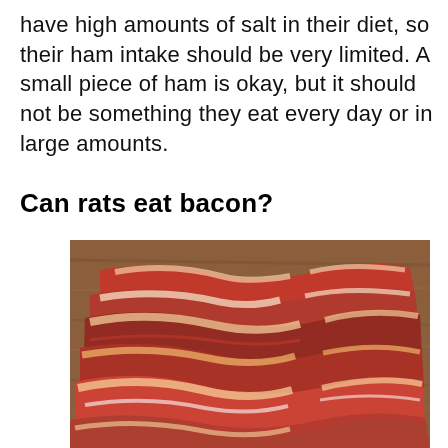have high amounts of salt in their diet, so their ham intake should be very limited. A small piece of ham is okay, but it should not be something they eat every day or in large amounts.
Can rats eat bacon?
[Figure (photo): Several strips of raw uncooked bacon laid on a wooden cutting board surface, showing the characteristic red meat and white fat streaks of bacon rashers.]